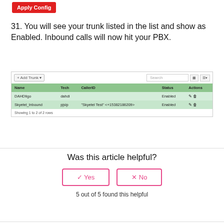[Figure (screenshot): Apply Config red button screenshot]
31. You will see your trunk listed in the list and show as Enabled. Inbound calls will now hit your PBX.
[Figure (screenshot): Trunks list table showing DAHDIigo (dahdi, Enabled) and Skyetel_Inbound (pjsip, 'Skyetel Test' <+15382186209>, Enabled). Showing 1 to 2 of 2 rows.]
Was this article helpful?
5 out of 5 found this helpful